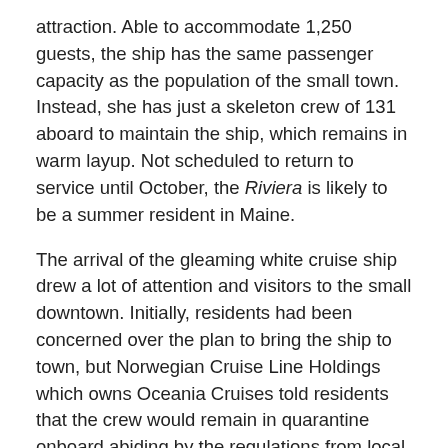attraction. Able to accommodate 1,250 guests, the ship has the same passenger capacity as the population of the small town. Instead, she has just a skeleton crew of 131 aboard to maintain the ship, which remains in warm layup. Not scheduled to return to service until October, the Riviera is likely to be a summer resident in Maine.
The arrival of the gleaming white cruise ship drew a lot of attention and visitors to the small downtown. Initially, residents had been concerned over the plan to bring the ship to town, but Norwegian Cruise Line Holdings which owns Oceania Cruises told residents that the crew would remain in quarantine onboard abiding by the regulations from local authorities, the US Coast Guard, and the Centers for Disease Control.
According to local reports, residents are now enjoying their summer visitor. Eastporters such as resident Treena Brunelle are posting pictures of the ship on their social media as the ship became a familiar backdrop in town.